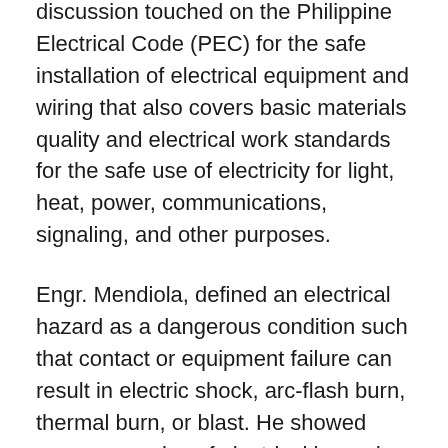discussion touched on the Philippine Electrical Code (PEC) for the safe installation of electrical equipment and wiring that also covers basic materials quality and electrical work standards for the safe use of electricity for light, heat, power, communications, signaling, and other purposes.
Engr. Mendiola, defined an electrical hazard as a dangerous condition such that contact or equipment failure can result in electric shock, arc-flash burn, thermal burn, or blast. He showed some examples of electrical hazards that can be seen in a workplace. He also played video clips showing the results of electrical hazards in the workplace such as burns, blasts, explosions, electrocution, fires, loss of property, and even loss of lives.
Likewise, Engr. Bandao tackled the importance of observing all electrical safety requirements and practices. He enumerated some good practices in attaining an